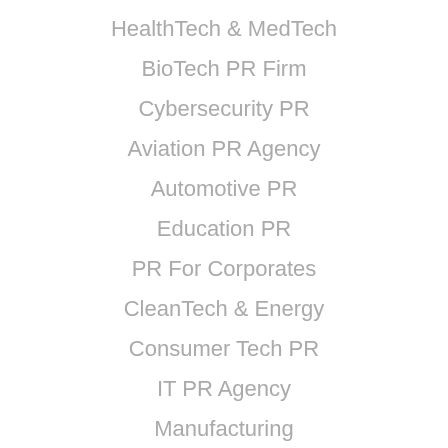HealthTech & MedTech
BioTech PR Firm
Cybersecurity PR
Aviation PR Agency
Automotive PR
Education PR
PR For Corporates
CleanTech & Energy
Consumer Tech PR
IT PR Agency
Manufacturing
Internet of Things PR
Transportation PR